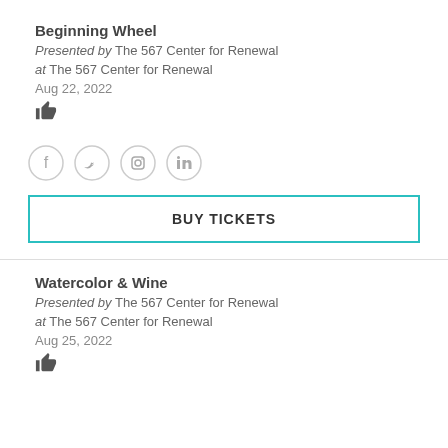Beginning Wheel
Presented by The 567 Center for Renewal
at The 567 Center for Renewal
Aug 22, 2022
[Figure (infographic): Thumbs up icon]
[Figure (infographic): Social media icons: Facebook, Twitter, Instagram, LinkedIn]
BUY TICKETS
Watercolor & Wine
Presented by The 567 Center for Renewal
at The 567 Center for Renewal
Aug 25, 2022
[Figure (infographic): Thumbs up icon]